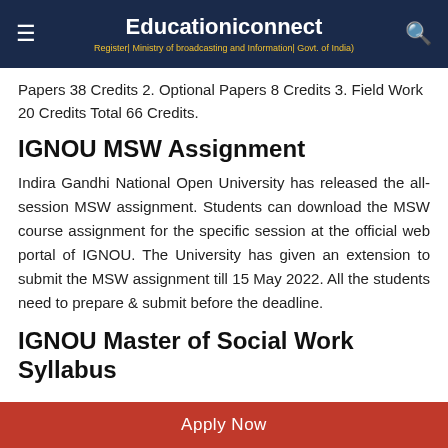Educationiconnect
Register| Ministry of broadcasting and Information| Govt. of India)
Papers 38 Credits 2. Optional Papers 8 Credits 3. Field Work 20 Credits Total 66 Credits.
IGNOU MSW Assignment
Indira Gandhi National Open University has released the all-session MSW assignment. Students can download the MSW course assignment for the specific session at the official web portal of IGNOU. The University has given an extension to submit the MSW assignment till 15 May 2022. All the students need to prepare & submit before the deadline.
IGNOU Master of Social Work Syllabus
Apply Now